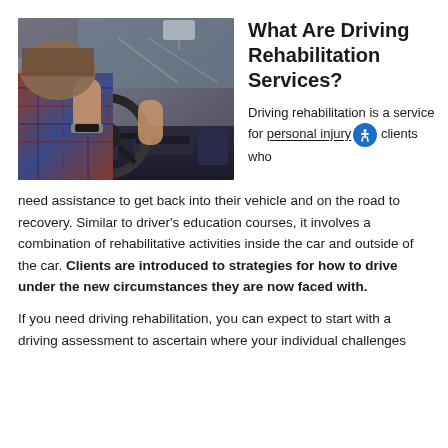[Figure (photo): Person sitting in driver's seat of a car, hands on steering wheel, viewed from behind/side, wearing a plaid shirt and watch]
What Are Driving Rehabilitation Services?
Driving rehabilitation is a service for personal injury clients who need assistance to get back into their vehicle and on the road to recovery. Similar to driver's education courses, it involves a combination of rehabilitative activities inside the car and outside of the car. Clients are introduced to strategies for how to drive under the new circumstances they are now faced with.
If you need driving rehabilitation, you can expect to start with a driving assessment to ascertain where your individual challenges